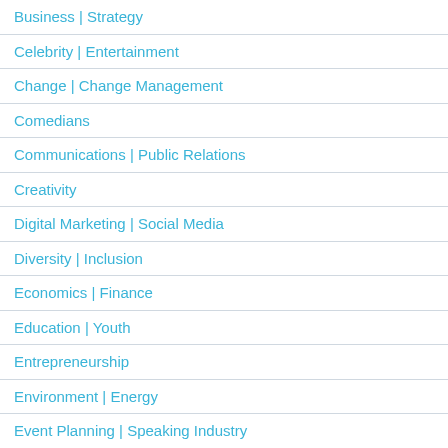Business | Strategy
Celebrity | Entertainment
Change | Change Management
Comedians
Communications | Public Relations
Creativity
Digital Marketing | Social Media
Diversity | Inclusion
Economics | Finance
Education | Youth
Entrepreneurship
Environment | Energy
Event Planning | Speaking Industry
Featured
Future Trends